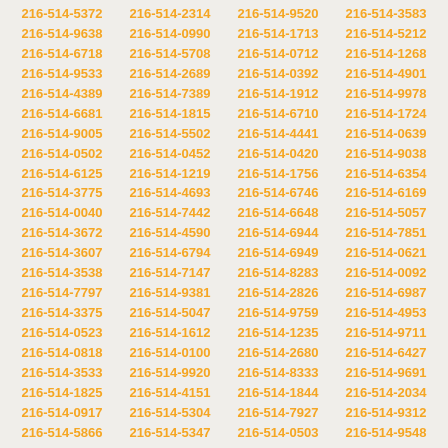| 216-514-5372 | 216-514-2314 | 216-514-9520 | 216-514-3583 |
| 216-514-9638 | 216-514-0990 | 216-514-1713 | 216-514-5212 |
| 216-514-6718 | 216-514-5708 | 216-514-0712 | 216-514-1268 |
| 216-514-9533 | 216-514-2689 | 216-514-0392 | 216-514-4901 |
| 216-514-4389 | 216-514-7389 | 216-514-1912 | 216-514-9978 |
| 216-514-6681 | 216-514-1815 | 216-514-6710 | 216-514-1724 |
| 216-514-9005 | 216-514-5502 | 216-514-4441 | 216-514-0639 |
| 216-514-0502 | 216-514-0452 | 216-514-0420 | 216-514-9038 |
| 216-514-6125 | 216-514-1219 | 216-514-1756 | 216-514-6354 |
| 216-514-3775 | 216-514-4693 | 216-514-6746 | 216-514-6169 |
| 216-514-0040 | 216-514-7442 | 216-514-6648 | 216-514-5057 |
| 216-514-3672 | 216-514-4590 | 216-514-6944 | 216-514-7851 |
| 216-514-3607 | 216-514-6794 | 216-514-6949 | 216-514-0621 |
| 216-514-3538 | 216-514-7147 | 216-514-8283 | 216-514-0092 |
| 216-514-7797 | 216-514-9381 | 216-514-2826 | 216-514-6987 |
| 216-514-3375 | 216-514-5047 | 216-514-9759 | 216-514-4953 |
| 216-514-0523 | 216-514-1612 | 216-514-1235 | 216-514-9711 |
| 216-514-0818 | 216-514-0100 | 216-514-2680 | 216-514-6427 |
| 216-514-3533 | 216-514-9920 | 216-514-8333 | 216-514-9691 |
| 216-514-1825 | 216-514-4151 | 216-514-1844 | 216-514-2034 |
| 216-514-0917 | 216-514-5304 | 216-514-7927 | 216-514-9312 |
| 216-514-5866 | 216-514-5347 | 216-514-0503 | 216-514-9548 |
| 216-514-9787 | 216-514-3896 | 216-514-8377 | 216-514-7540 |
| 216-514-7253 | 216-514-2401 | 216-514-8232 | 216-514-7963 |
| 216-514-8109 | 216-514-9089 | 216-514-9346 | 216-514-4318 |
| 216-514-5883 | 216-514-0312 | 216-514-7665 | 216-514-2630 |
| 216-514-5734 | 216-514-5718 | 216-514-5794 | 216-514-7729 |
| 216-514-4632 | 216-514-7468 | 216-514-7260 | 216-514-8327 |
| 216-514-3328 | 216-514-5371 | 216-514-3112 | 216-514-5248 |
| 216-514-6885 | 216-514-5940 | 216-514-2802 | 216-514-5379 |